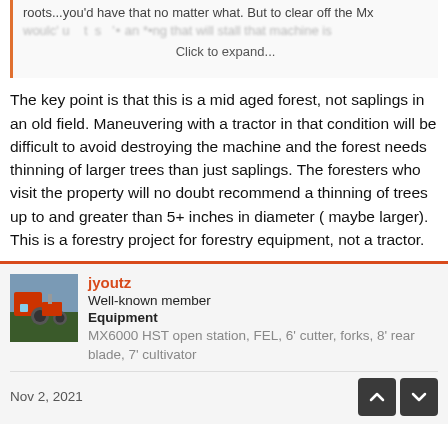roots...you'd have that no matter what. But to clear off the Mx would... to s... any thing that will stall that machine is
Click to expand...
The key point is that this is a mid aged forest, not saplings in an old field. Maneuvering with a tractor in that condition will be difficult to avoid destroying the machine and the forest needs thinning of larger trees than just saplings. The foresters who visit the property will no doubt recommend a thinning of trees up to and greater than 5+ inches in diameter ( maybe larger). This is a forestry project for forestry equipment, not a tractor.
jyoutz
Well-known member
Equipment
MX6000 HST open station, FEL, 6' cutter, forks, 8' rear blade, 7' cultivator
Nov 2, 2021